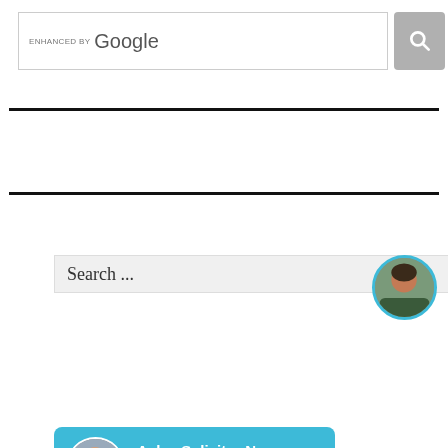[Figure (screenshot): Google enhanced search bar with search icon button]
[Figure (screenshot): Search input box with placeholder text 'Search ...']
[Figure (screenshot): Ask a Solicitor Now widget card featuring Ben Jones, UK Solicitor with avatar and typing indicator, and a woman avatar on the right]